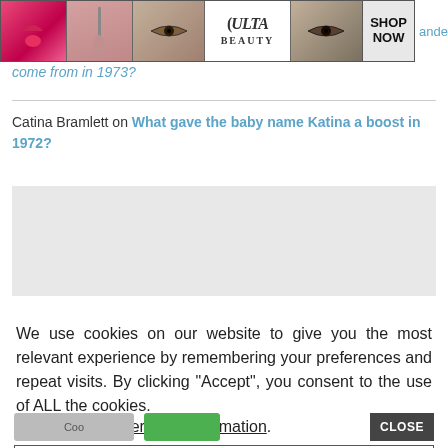[Figure (screenshot): Ulta Beauty advertisement banner with makeup images and SHOP NOW button]
come from in 1973?
Catina Bramlett on What gave the baby name Katina a boost in 1972?
[Figure (screenshot): Grey advertisement placeholder box]
We use cookies on our website to give you the most relevant experience by remembering your preferences and repeat visits. By clicking “Accept”, you consent to the use of ALL the cookies.
Do not sell my personal information.
[Figure (screenshot): MAC Cosmetics advertisement banner with lipsticks and SHOP NOW button]